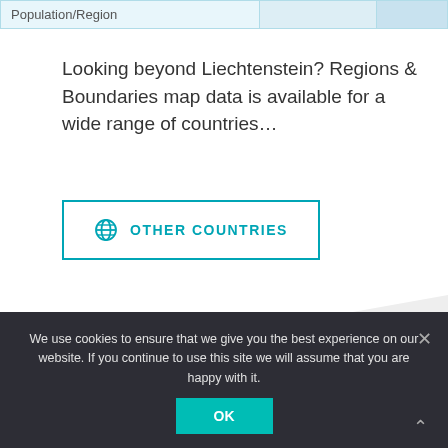| Population/Region |  |  |
| --- | --- | --- |
|   |   |   |
Looking beyond Liechtenstein? Regions & Boundaries map data is available for a wide range of countries…
[Figure (other): Button with globe icon and text 'OTHER COUNTRIES']
Data formats & delivery
We use cookies to ensure that we give you the best experience on our website. If you continue to use this site we will assume that you are happy with it.